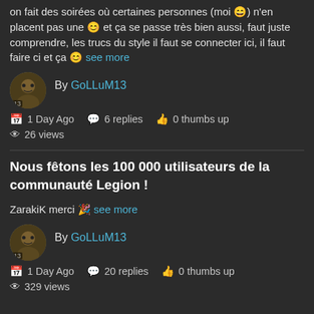on fait des soirées où certaines personnes (moi 😄) n'en placent pas une 😊 et ça se passe très bien aussi, faut juste comprendre, les trucs du style il faut se connecter ici, il faut faire ci et ça 😊 see more
By GoLLuM13
1 Day Ago  6 replies  0 thumbs up  26 views
Nous fêtons les 100 000 utilisateurs de la communauté Legion !
ZarakiK merci 🎉 see more
By GoLLuM13
1 Day Ago  20 replies  0 thumbs up  329 views